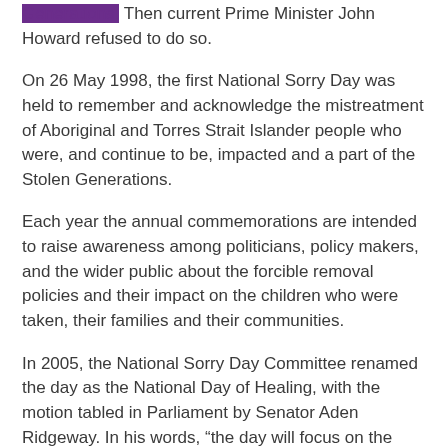Generations. Then current Prime Minister John Howard refused to do so.
On 26 May 1998, the first National Sorry Day was held to remember and acknowledge the mistreatment of Aboriginal and Torres Strait Islander people who were, and continue to be, impacted and a part of the Stolen Generations.
Each year the annual commemorations are intended to raise awareness among politicians, policy makers, and the wider public about the forcible removal policies and their impact on the children who were taken, their families and their communities.
In 2005, the National Sorry Day Committee renamed the day as the National Day of Healing, with the motion tabled in Parliament by Senator Aden Ridgeway. In his words, “the day will focus on the healing needed throughout Australian society if we are to achieve reconciliation”.
On 13 February 2008 Prime Minister Kevin Rudd made a formal apology to Aboriginal and Torres Strait